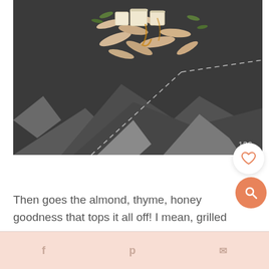[Figure (photo): Close-up photo of brie cheese with sliced almonds, thyme, and honey on crinkled aluminum foil. The number 126 appears in the lower right corner of the image.]
Then goes the almond, thyme, honey goodness that tops it all off! I mean, grilled brie with honey... a must do.